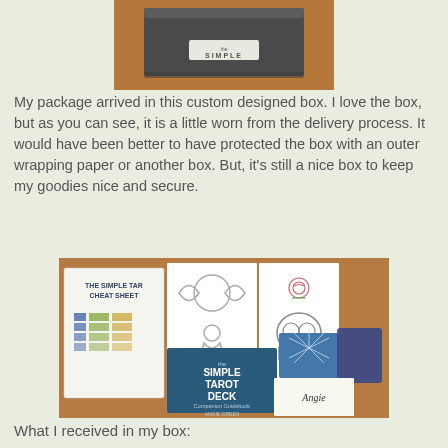[Figure (photo): Photo of a custom designed dark gray/black box with 'The Simple' text visible on the label, sitting on a wooden surface, showing some wear from delivery.]
My package arrived in this custom designed box. I love the box, but as you can see, it is a little worn from the delivery process. It would have been better to have protected the box with an outer wrapping paper or another box. But, it's still a nice box to keep my goodies nice and secure.
[Figure (photo): Photo showing contents of the box: The Simple Tarot Cheat Sheet booklet, a card with a meditating figure and triple moon symbol, a card with a skull and rose illustration, The Simple Tarot Deck Companion Guidebook by Angie Green, a deck of tarot cards with blue backing showing a starburst pattern, a blue cloth pouch, and a handwritten note signed 'Angie'.]
What I received in my box: